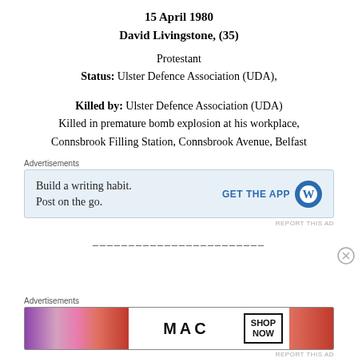15 April 1980
David Livingstone, (35)
Protestant
Status: Ulster Defence Association (UDA),
Killed by: Ulster Defence Association (UDA)
Killed in premature bomb explosion at his workplace, Connsbrook Filling Station, Connsbrook Avenue, Belfast
[Figure (screenshot): Advertisement banner: Build a writing habit. Post on the go. GET THE APP [WordPress logo]]
________________________
[Figure (screenshot): Advertisement banner: MAC cosmetics SHOP NOW with lipstick image]